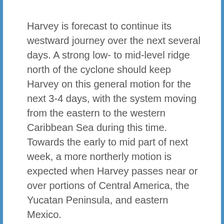Harvey is forecast to continue its westward journey over the next several days. A strong low- to mid-level ridge north of the cyclone should keep Harvey on this general motion for the next 3-4 days, with the system moving from the eastern to the western Caribbean Sea during this time. Towards the early to mid part of next week, a more northerly motion is expected when Harvey passes near or over portions of Central America, the Yucatan Peninsula, and eastern Mexico.
The National Hurricane Center continues to forecast that this system will strengthen over time. For now, they expect the system to not gain hurricane strength over its life cycle, but the NHC confidence in intensity forecasts for this storm is low at this time.